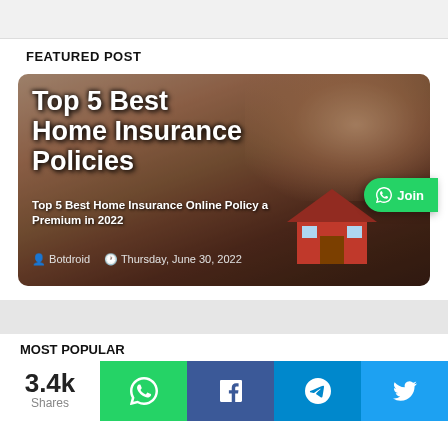FEATURED POST
[Figure (photo): Featured blog card showing article 'Top 5 Best Home Insurance Policies' with background image of hands holding a model house, and overlay text including subtitle 'Top 5 Best Home Insurance Online Policy a nd Premium in 2022', author 'Botdroid', date 'Thursday, June 30, 2022', and a WhatsApp Join button]
MOST POPULAR
3.4k Shares
[Figure (infographic): Social share buttons row: WhatsApp (green), Facebook (dark blue), Telegram (blue), Twitter (light blue)]